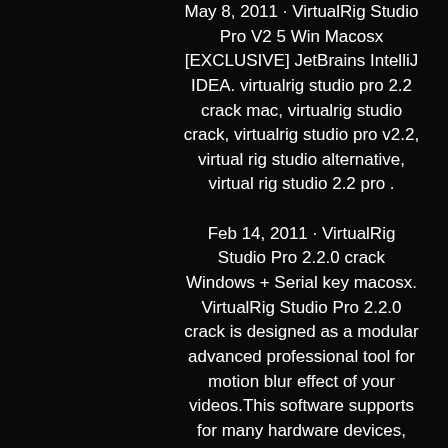May 8, 2011 · VirtualRig Studio Pro V2 5 Win Macosx [EXCLUSIVE] JetBrains IntelliJ IDEA. virtualrig studio pro 2.2 crack mac, virtualrig studio crack, virtualrig studio pro v2.2, virtual rig studio alternative, virtual rig studio 2.2 pro . Feb 14, 2011 · VirtualRig Studio Pro 2.2.0 crack Windows + Serial key macosx. VirtualRig Studio Pro 2.2.0 crack is designed as a modular advanced professional tool for motion blur effect of your videos.This software supports for many hardware devices, including light box, digital camera
ac619d1d87
https://www.rebate-solar.com/profile/Windows-7-Fatality-GX-